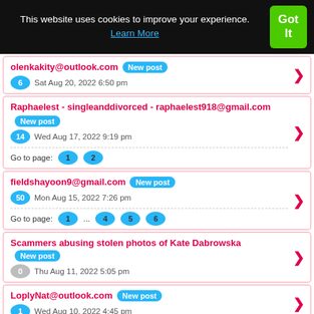This website uses cookies to improve your experience. Learn More | Got It
olenkakity@outlook.com New post — 6 — Sat Aug 20, 2022 6:50 pm
Raphaelest - singleanddivorced - raphaelest918@gmail.com New post — 14 — Wed Aug 17, 2022 9:19 pm — Go to page: 1 2
fieldshayoon9@gmail.com New post — 50 — Mon Aug 15, 2022 7:26 pm — Go to page: 1 ... 4 5 6
Scammers abusing stolen photos of Kate Dabrowska New post — 0 — Thu Aug 11, 2022 5:05 pm
LoplyNat@outlook.com New post — 1 — Wed Aug 10, 2022 4:45 pm
Scammers abusing stolen photos of Monica Lin Brown New post — 92 — Tue Aug 09, 2022 2:11 pm — Go to page: 1 ... 8 9 10